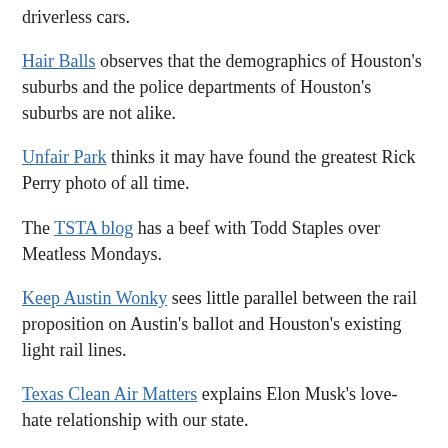driverless cars.
Hair Balls observes that the demographics of Houston's suburbs and the police departments of Houston's suburbs are not alike.
Unfair Park thinks it may have found the greatest Rick Perry photo of all time.
The TSTA blog has a beef with Todd Staples over Meatless Mondays.
Keep Austin Wonky sees little parallel between the rail proposition on Austin's ballot and Houston's existing light rail lines.
Texas Clean Air Matters explains Elon Musk's love-hate relationship with our state.